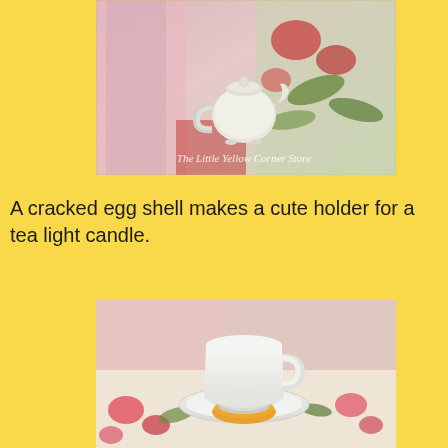[Figure (photo): A miniature white ceramic teapot napkin ring on pink and floral fabric. Watermark reads 'The Little Yellow Corner Store'.]
A cracked egg shell makes a cute holder for a tea light candle.
[Figure (photo): A white ceramic teacup and saucer with a tea light candle in an orange shell on a floral tablecloth.]